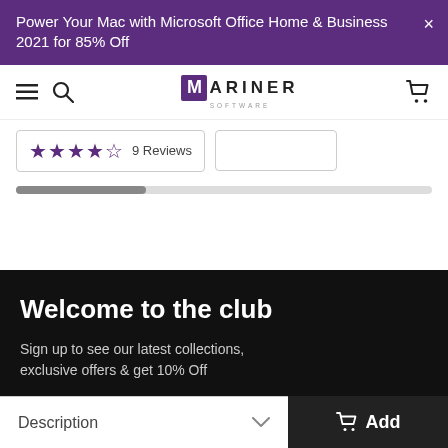Power Your Mac with Microsoft Office Home & Business 2021 for 85% Off
[Figure (logo): Mariner Software logo with hamburger menu, search icon, and cart icon in navigation bar]
★★★★☆ 9 Reviews
[Figure (infographic): Progress bar, partially filled in grey]
Welcome to the club
Sign up to see our latest collections, exclusive offers & get 10% Off
Email
Description
Add